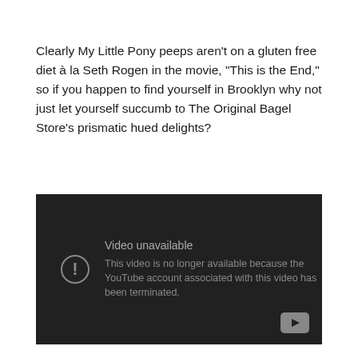Clearly My Little Pony peeps aren't on a gluten free diet à la Seth Rogen in the movie, “This is the End,” so if you happen to find yourself in Brooklyn why not just let yourself succumb to The Original Bagel Store's prismatic hued delights?
[Figure (screenshot): Embedded YouTube video player showing 'Video unavailable' error message. Dark background with an exclamation mark circle icon on the left. Text reads: 'Video unavailable' and 'This video is no longer available because the YouTube account associated with this video has been terminated.' YouTube logo button in the bottom right corner.]